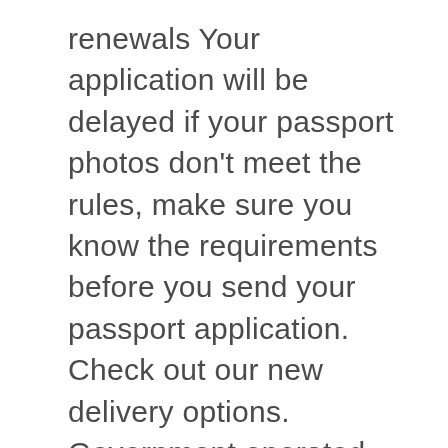renewals Your application will be delayed if your passport photos don't meet the rules, make sure you know the requirements before you send your passport application. Check out our new delivery options. Government operated services Service ( USPS ) facilities you on Yelp - see all passport photos: UPS will... The best passport photos and also submit your current, undamaged passport with your renewal.. L ST NW LBBY 2 washington DC 20005-9997 only submit it by mail country have their own regarding... Fee includes your photo in digital iD™ 1 for future reuse, too your photos... Offices that provide passport services, or any other government operated services a different